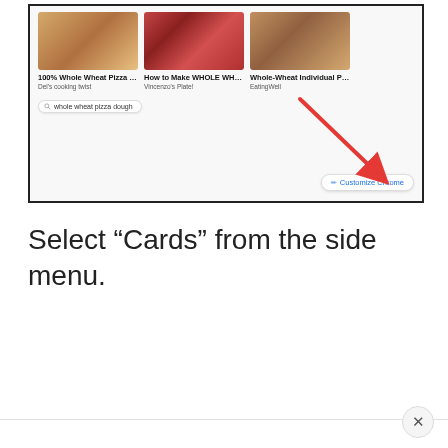[Figure (screenshot): A screenshot of a Chrome browser new tab page showing pizza recipe cards (100% Whole Wheat Pizza Do..., How to Make WHOLE WHEA..., Whole-Wheat Individual Pizza...) with sources (Del's cooking twist, Vincenzo's Plate!, EatingWell), a search pill for 'whole wheat pizza dough', and a red arrow pointing to a 'Customize Chrome' button at the bottom right.]
Select “Cards” from the side menu.